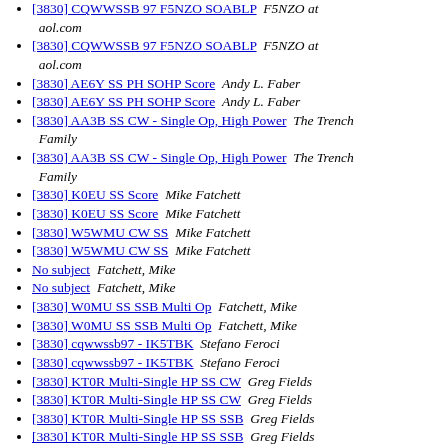[3830] CQWWSSB 97 F5NZO SOABLP  F5NZO at aol.com
[3830] CQWWSSB 97 F5NZO SOABLP  F5NZO at aol.com
[3830] AE6Y SS PH SOHP Score  Andy L. Faber
[3830] AE6Y SS PH SOHP Score  Andy L. Faber
[3830] AA3B SS CW - Single Op, High Power  The Trench Family
[3830] AA3B SS CW - Single Op, High Power  The Trench Family
[3830] K0EU SS Score  Mike Fatchett
[3830] K0EU SS Score  Mike Fatchett
[3830] W5WMU CW SS  Mike Fatchett
[3830] W5WMU CW SS  Mike Fatchett
No subject  Fatchett, Mike
No subject  Fatchett, Mike
[3830] W0MU SS SSB Multi Op  Fatchett, Mike
[3830] W0MU SS SSB Multi Op  Fatchett, Mike
[3830] cqwwssb97 - IK5TBK  Stefano Feroci
[3830] cqwwssb97 - IK5TBK  Stefano Feroci
[3830] KT0R Multi-Single HP SS CW  Greg Fields
[3830] KT0R Multi-Single HP SS CW  Greg Fields
[3830] KT0R Multi-Single HP SS SSB  Greg Fields
[3830] KT0R Multi-Single HP SS SSB  Greg Fields
[3830] J3A GRENADA CQWW SSB M/M  Harry Flasher
[3830] J3A GRENADA CQWW SSB M/M  Harry Flasher